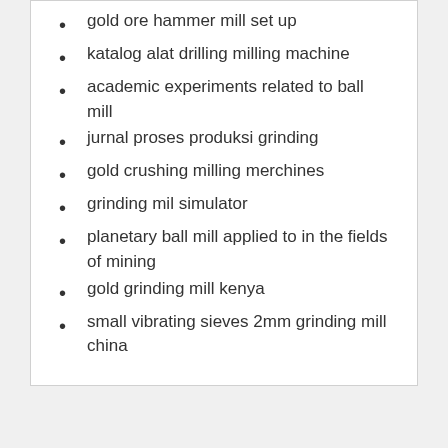gold ore hammer mill set up
katalog alat drilling milling machine
academic experiments related to ball mill
jurnal proses produksi grinding
gold crushing milling merchines
grinding mil simulator
planetary ball mill applied to in the fields of mining
gold grinding mill kenya
small vibrating sieves 2mm grinding mill china